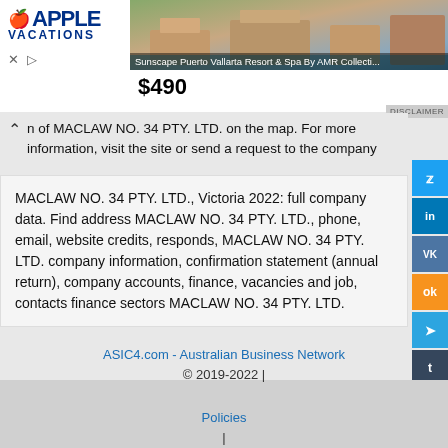[Figure (screenshot): Apple Vacations advertisement banner showing a resort photo (Sunscape Puerto Vallarta Resort & Spa By AMR Collecti...) with price $490]
n of MACLAW NO. 34 PTY. LTD. on the map. For more information, visit the site or send a request to the company
MACLAW NO. 34 PTY. LTD., Victoria 2022: full company data. Find address MACLAW NO. 34 PTY. LTD., phone, email, website credits, responds, MACLAW NO. 34 PTY. LTD. company information, confirmation statement (annual return), company accounts, finance, vacancies and job, contacts finance sectors MACLAW NO. 34 PTY. LTD.
ASIC4.com - Australian Business Network © 2019-2022 | Policies | Bedrijfsgegevens van Nederland 2022